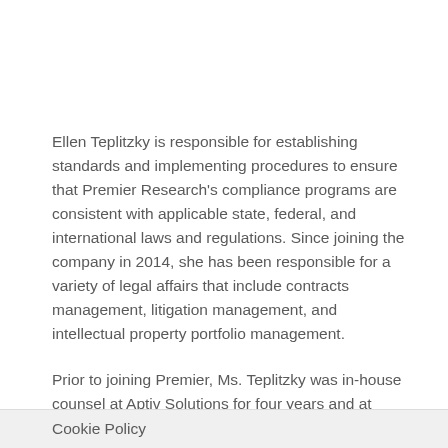Ellen Teplitzky is responsible for establishing standards and implementing procedures to ensure that Premier Research's compliance programs are consistent with applicable state, federal, and international laws and regulations. Since joining the company in 2014, she has been responsible for a variety of legal affairs that include contracts management, litigation management, and intellectual property portfolio management.
Prior to joining Premier, Ms. Teplitzky was in-house counsel at Aptiv Solutions for four years and at
Cookie Policy